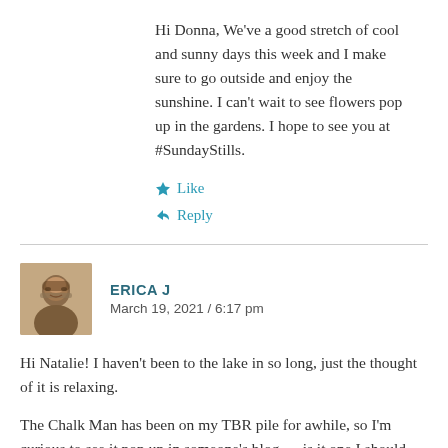Hi Donna, We've a good stretch of cool and sunny days this week and I make sure to go outside and enjoy the sunshine. I can't wait to see flowers pop up in the gardens. I hope to see you at #SundayStills.
★ Like
↩ Reply
ERICA J
March 19, 2021 / 6:17 pm
Hi Natalie! I haven't been to the lake in so long, just the thought of it is relaxing.
The Chalk Man has been on my TBR pile for awhile, so I'm curious to see it pop up in someone's blog — is it one I should move to the top?